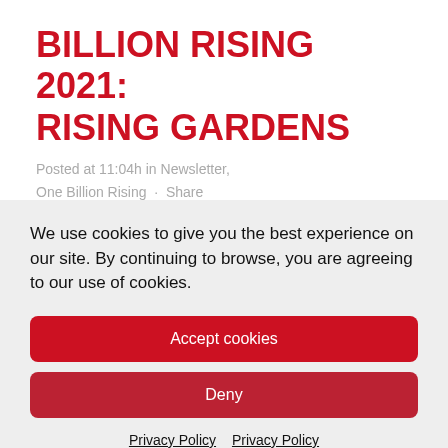BILLION RISING 2021: RISING GARDENS
Posted at 11:04h in Newsletter, One Billion Rising · Share
We use cookies to give you the best experience on our site. By continuing to browse, you are agreeing to our use of cookies.
Accept cookies
Deny
Privacy Policy  Privacy Policy